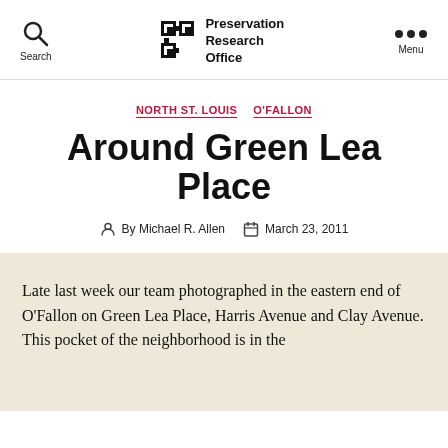Preservation Research Office
NORTH ST. LOUIS  O'FALLON
Around Green Lea Place
By Michael R. Allen  March 23, 2011
Late last week our team photographed in the eastern end of O'Fallon on Green Lea Place, Harris Avenue and Clay Avenue. This pocket of the neighborhood is in the